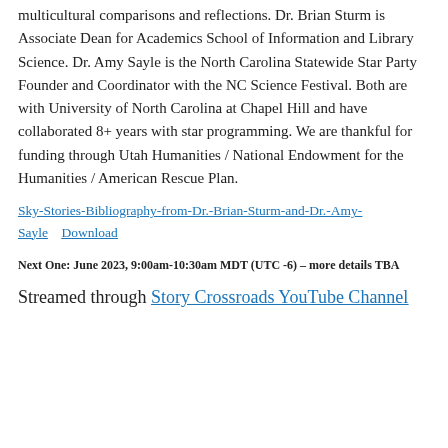multicultural comparisons and reflections. Dr. Brian Sturm is Associate Dean for Academics School of Information and Library Science. Dr. Amy Sayle is the North Carolina Statewide Star Party Founder and Coordinator with the NC Science Festival. Both are with University of North Carolina at Chapel Hill and have collaborated 8+ years with star programming. We are thankful for funding through Utah Humanities / National Endowment for the Humanities / American Rescue Plan.
Sky-Stories-Bibliography-from-Dr.-Brian-Sturm-and-Dr.-Amy-Sayle    Download
Next One: June 2023, 9:00am-10:30am MDT (UTC -6) – more details TBA
Streamed through Story Crossroads YouTube Channel